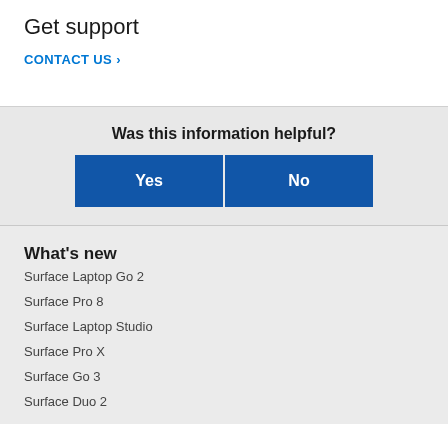Get support
CONTACT US >
Was this information helpful?
Yes
No
What's new
Surface Laptop Go 2
Surface Pro 8
Surface Laptop Studio
Surface Pro X
Surface Go 3
Surface Duo 2